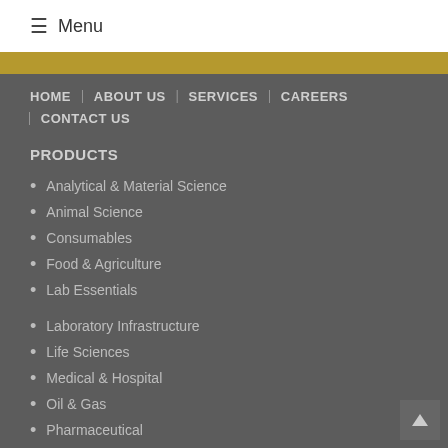≡ Menu
HOME | ABOUT US | SERVICES | CAREERS | CONTACT US
PRODUCTS
Analytical & Material Science
Animal Science
Consumables
Food & Agriculture
Lab Essentials
Laboratory Infrastructure
Life Sciences
Medical & Hospital
Oil & Gas
Pharmaceutical